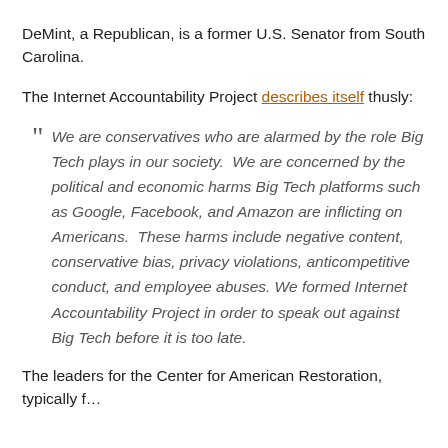DeMint, a Republican, is a former U.S. Senator from South Carolina.
The Internet Accountability Project describes itself thusly:
We are conservatives who are alarmed by the role Big Tech plays in our society.  We are concerned by the political and economic harms Big Tech platforms such as Google, Facebook, and Amazon are inflicting on Americans.  These harms include negative content, conservative bias, privacy violations, anticompetitive conduct, and employee abuses. We formed Internet Accountability Project in order to speak out against Big Tech before it is too late.
The leaders for the Center for American Restoration, typically f…